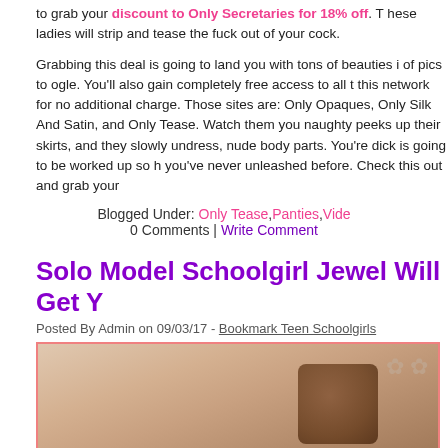to grab your discount to Only Secretaries for 18% off. These ladies will strip and tease the fuck out of your cock.
Grabbing this deal is going to land you with tons of beauties in pics to ogle. You'll also gain completely free access to all the sites in this network for no additional charge. Those sites are: Only Opaques, Only Silk And Satin, and Only Tease. Watch them give you naughty peeks up their skirts, and they slowly undress, showing nude body parts. You're dick is going to be worked up so hard like you've never unleashed before. Check this out and grab your...
Blogged Under: Only Tease, Panties, Vide... 0 Comments | Write Comment
Solo Model Schoolgirl Jewel Will Get Y...
Posted By Admin on 09/03/17 - Bookmark Teen Schoolgirls
[Figure (photo): Photo of a model, cropped view showing skin tones with wooden furniture and floral wallpaper in background]